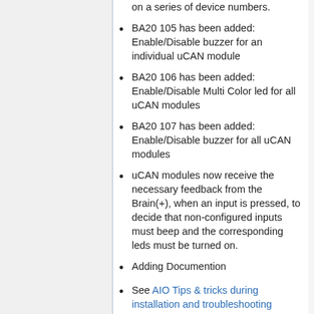on a series of device numbers.
BA20 105 has been added: Enable/Disable buzzer for an individual uCAN module
BA20 106 has been added: Enable/Disable Multi Color led for all uCAN modules
BA20 107 has been added: Enable/Disable buzzer for all uCAN modules
uCAN modules now receive the necessary feedback from the Brain(+), when an input is pressed, to decide that non-configured inputs must beep and the corresponding leds must be turned on.
Adding Documention
See AIO Tips & tricks during installation and troubleshooting